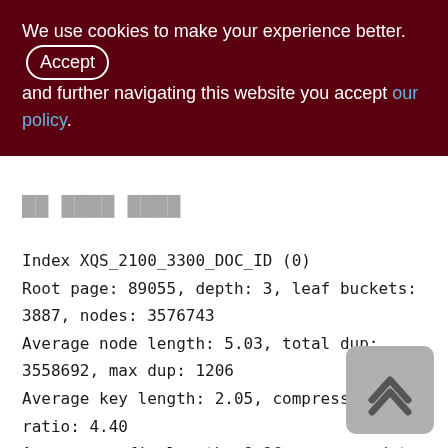We use cookies to make your experience better. By accepting and further navigating this website you accept our policy.
Index XQS_2100_3300_DOC_ID (0)
Root page: 89055, depth: 3, leaf buckets: 3887, nodes: 3576743
Average node length: 5.03, total dup: 3558692, max dup: 1206
Average key length: 2.05, compression ratio: 4.40
Average prefix length: 8.96, average data length: 0.04
Clustering factor: 778641, ratio: 0.22
Fill distribution: